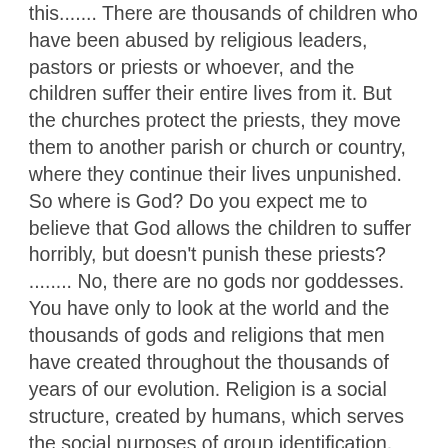this....... There are thousands of children who have been abused by religious leaders, pastors or priests or whoever, and the children suffer their entire lives from it. But the churches protect the priests, they move them to another parish or church or country, where they continue their lives unpunished. So where is God? Do you expect me to believe that God allows the children to suffer horribly, but doesn't punish these priests? ........ No, there are no gods nor goddesses. You have only to look at the world and the thousands of gods and religions that men have created throughout the thousands of years of our evolution. Religion is a social structure, created by humans, which serves the social purposes of group identification, control and belonging. Where is the evidence for anything supernatural?
Reply ↵
William - 04/10/2017 at 21:30
My sister was named Debby Servant. She died before I was